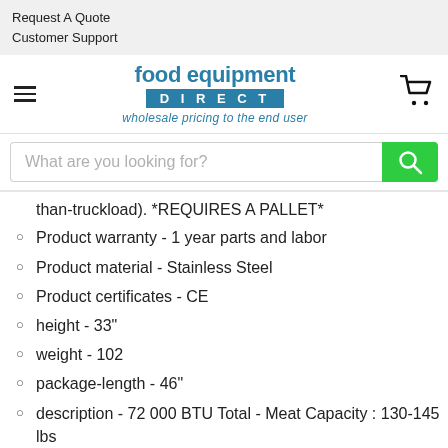Request A Quote
Customer Support
[Figure (logo): Food Equipment Direct logo with tagline 'wholesale pricing to the end user']
than-truckload). *REQUIRES A PALLET*
Product warranty - 1 year parts and labor
Product material - Stainless Steel
Product certificates - CE
height - 33"
weight - 102
package-length - 46"
description - 72 000 BTU Total - Meat Capacity : 130-145 lbs